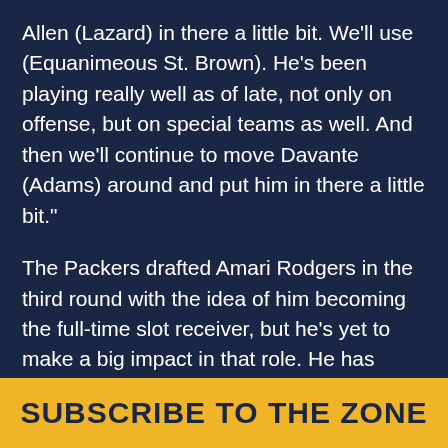Allen (Lazard) in there a little bit. We'll use (Equanimeous St. Brown). He's been playing really well as of late, not only on offense, but on special teams as well. And then we'll continue to move Davante (Adams) around and put him in there a little bit."

The Packers drafted Amari Rodgers in the third round with the idea of him becoming the full-time slot receiver, but he's yet to make a big impact in that role. He has three catches for 40 yards and has been targeted just five times.
SUBSCRIBE TO THE ZONE